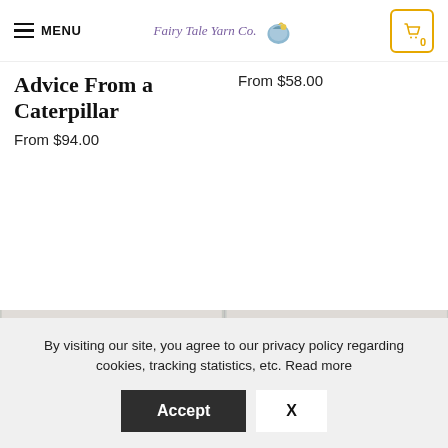MENU | Fairy Tale Yarn Co. | 0
Advice From a Caterpillar
From $94.00
From $58.00
[Figure (photo): Yarn skeins with small frog figurines on wooden surface]
[Figure (photo): Pink and teal yarn skeins with decorative figurine on wooden surface]
By visiting our site, you agree to our privacy policy regarding cookies, tracking statistics, etc. Read more